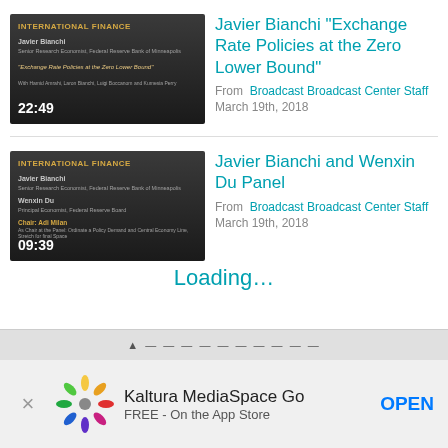[Figure (screenshot): Video thumbnail for International Finance lecture by Javier Bianchi, duration 22:49]
Javier Bianchi "Exchange Rate Policies at the Zero Lower Bound"
From Broadcast Broadcast Center Staff
March 19th, 2018
[Figure (screenshot): Video thumbnail for International Finance panel by Javier Bianchi and Wenxin Du, duration 09:39]
Javier Bianchi and Wenxin Du Panel
From Broadcast Broadcast Center Staff
March 19th, 2018
Loading…
[Figure (logo): Kaltura MediaSpace Go app banner with colorful spinner logo, FREE - On the App Store, OPEN button]